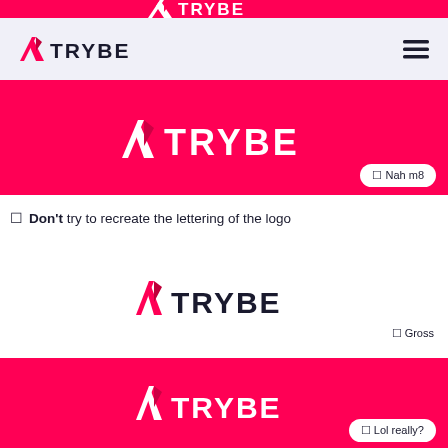[Figure (logo): Partially cropped TRYBE logo on pink background at top]
[Figure (logo): Navigation bar with TRYBE logo and hamburger menu on light purple background]
[Figure (logo): Full-width pink banner with white TRYBE logo and 'Nah m8' badge]
☐ Don't try to recreate the lettering of the logo
[Figure (logo): TRYBE logo in pink and dark navy on white background with 'Gross' label]
[Figure (logo): Full-width pink banner with white TRYBE logo and 'Lol really?' badge]